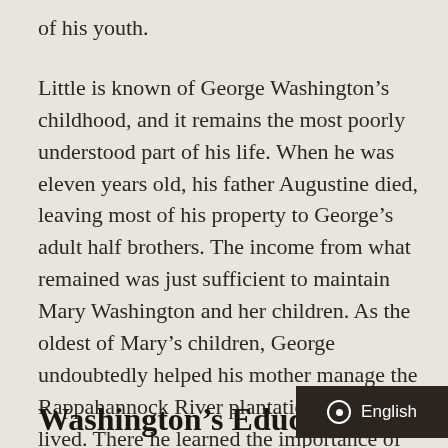of his youth.
Little is known of George Washington's childhood, and it remains the most poorly understood part of his life. When he was eleven years old, his father Augustine died, leaving most of his property to George's adult half brothers. The income from what remained was just sufficient to maintain Mary Washington and her children. As the oldest of Mary's children, George undoubtedly helped his mother manage the Rappahannock River plantation where they lived. There he learned the importance of hard work and efficiency.
Washington's Educati